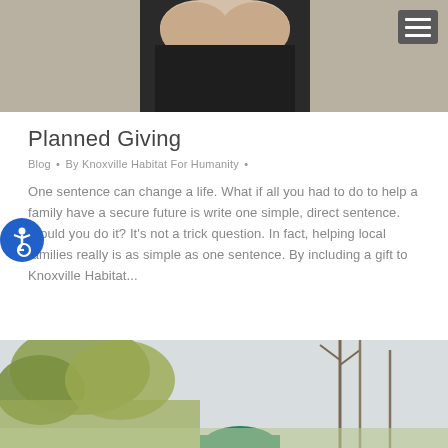[Figure (photo): Top banner photo showing a person's hands and dark clothing against a light background]
Planned Giving
Blog • By Knoxville Habitat For Humanity •
One sentence can change a life. What if all you had to do to help a family have a secure future is write one simple, direct sentence. Would you do it? It's not a trick question. In fact, helping local families really is as simple as one sentence. By including a gift to Knoxville Habitat...
[Figure (photo): Bottom banner photo showing outdoor trees and vegetation with colorful hats/people visible]